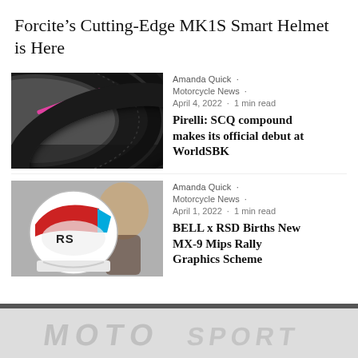Forcite’s Cutting-Edge MK1S Smart Helmet is Here
[Figure (photo): Close-up photo of a Pirelli motorcycle tire showing the tread and sidewall with colored compound markings (pink and yellow stripes)]
Amanda Quick ·
Motorcycle News ·
April 4, 2022 · 1 min read
Pirelli: SCQ compound makes its official debut at WorldSBK
[Figure (photo): Photo of a man holding a white, red and blue BELL x RSD MX-9 Mips Rally helmet with RS logo]
Amanda Quick ·
Motorcycle News ·
April 1, 2022 · 1 min read
BELL x RSD Births New MX-9 Mips Rally Graphics Scheme
[Figure (photo): Partial bottom-of-page image showing a light gray background with faint helmet/motorcycle graphics text overlay]